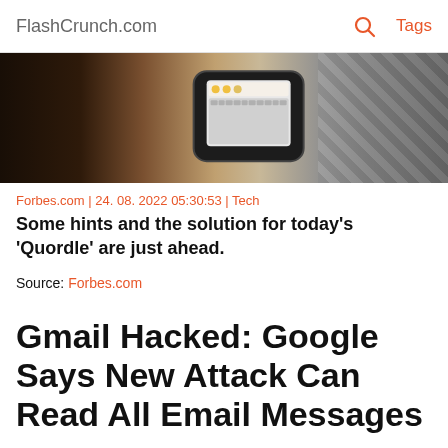FlashCrunch.com   🔍   Tags
[Figure (photo): A smartphone being held, showing a keyboard/game app screen, dark background with bokeh and a striped pattern on the right.]
Forbes.com | 24. 08. 2022 05:30:53 | Tech
Some hints and the solution for today's 'Quordle' are just ahead.
Source: Forbes.com
Gmail Hacked: Google Says New Attack Can Read All Email Messages